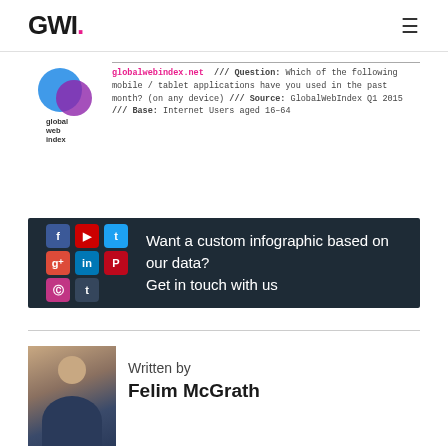GWI.
[Figure (logo): GlobalWebIndex circular logo with blue and purple overlapping shapes, text: global web index]
globalwebindex.net /// Question: Which of the following mobile / tablet applications have you used in the past month? (on any device) /// Source: GlobalWebIndex Q1 2015 /// Base: Internet Users aged 16-64
[Figure (infographic): Dark banner with social media icons (Facebook, YouTube, Twitter, Google+, LinkedIn, Pinterest, Instagram, Tumblr) and text: Want a custom infographic based on our data? Get in touch with us]
[Figure (photo): Photo of Felim McGrath, a young man with a beard wearing a dark blue shirt]
Written by
Felim McGrath